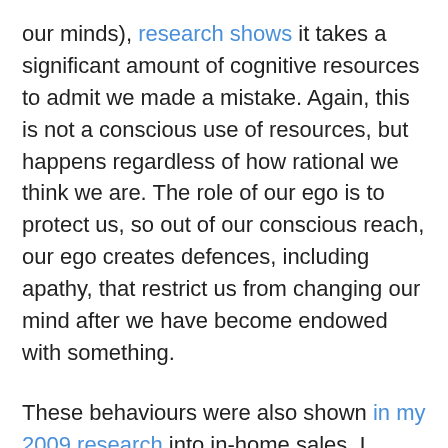our minds), research shows it takes a significant amount of cognitive resources to admit we made a mistake. Again, this is not a conscious use of resources, but happens regardless of how rational we think we are. The role of our ego is to protect us, so out of our conscious reach, our ego creates defences, including apathy, that restrict us from changing our mind after we have become endowed with something.
These behaviours were also shown in my 2009 research into in-home sales. I found once consumers had actually signed a large financial contract for a pretty poor educational software package, their likelihood of cancelling that contract within ten days (which until recently was the cooling-off period in Victoria) was remote.